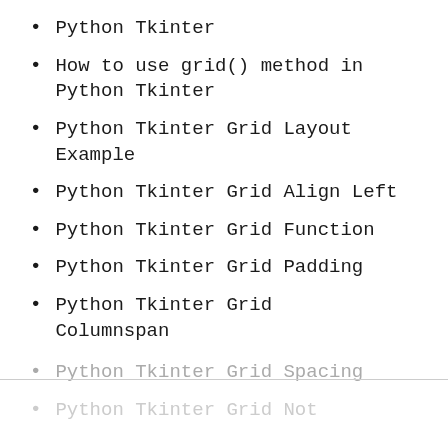Python Tkinter
How to use grid() method in Python Tkinter
Python Tkinter Grid Layout Example
Python Tkinter Grid Align Left
Python Tkinter Grid Function
Python Tkinter Grid Padding
Python Tkinter Grid Columnspan
Python Tkinter Grid Spacing
Python Tkinter Grid Not